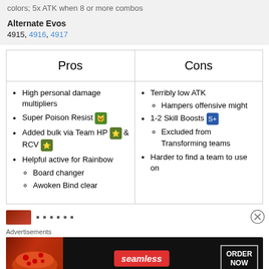colors; 5x ATK when 8 or more combos
Alternate Evos
4915, 4916, 4917
| Pros | Cons |
| --- | --- |
| High personal damage multipliers
Super Poison Resist
Added bulk via Team HP & RCV
Helpful active for Rainbow
  Board changer
  Awoken Bind clear | Terribly low ATK
  Hampers offensive might
1-2 Skill Boosts
  Excluded from Transforming teams
Harder to find a team to use on |
[Figure (other): Advertisement banner for Seamless food delivery with pizza image and ORDER NOW button]